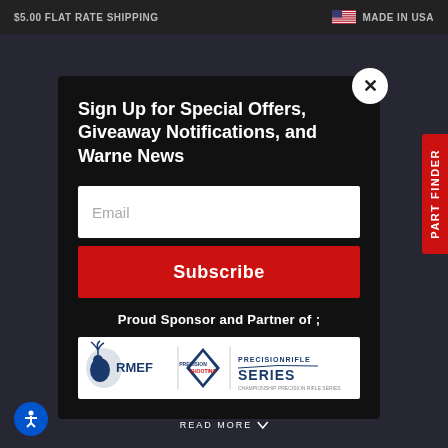$5.00 FLAT RATE SHIPPING   MADE IN USA
Sign Up for Special Offers, Giveaway Notifications, and Warne News
Email
Subscribe
Proud Sponsor and Partner of ;
[Figure (logo): Sponsor logos: RMEF (elk logo), Precision Shooting (diamond badge logo), Precision Rifle Series (wordmark with rifle silhouette)]